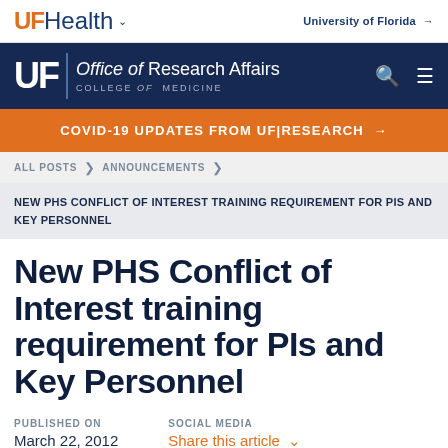UF Health — University of Florida
UF | Office of Research Affairs, College of Medicine
COVID-19 UPDATES FROM UF|RESEARCH →
ALL POSTS > ANNOUNCEMENTS
NEW PHS CONFLICT OF INTEREST TRAINING REQUIREMENT FOR PIS AND KEY PERSONNEL
New PHS Conflict of Interest training requirement for PIs and Key Personnel
PUBLISHED ON
March 22, 2012
SOCIAL MEDIA
Share this article ∨